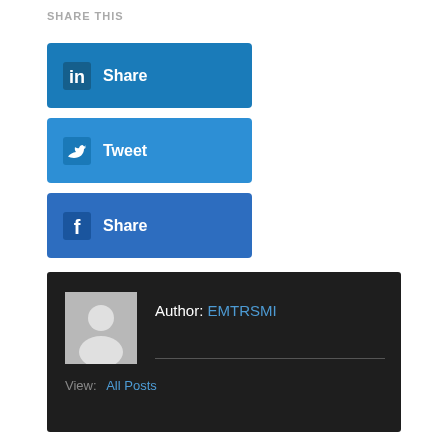SHARE THIS
[Figure (other): LinkedIn Share button - blue rounded rectangle with LinkedIn icon and 'Share' text]
[Figure (other): Twitter Tweet button - blue rounded rectangle with Twitter bird icon and 'Tweet' text]
[Figure (other): Facebook Share button - blue rounded rectangle with Facebook icon and 'Share' text]
Author: EMTRSMI
View: All Posts